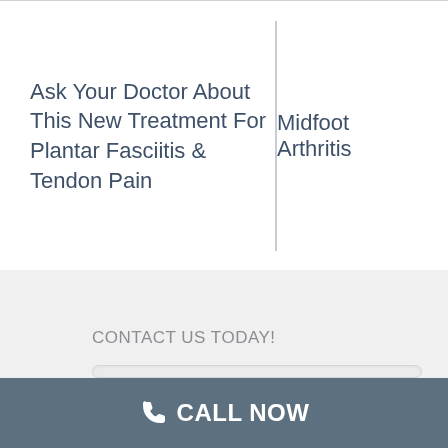Ask Your Doctor About This New Treatment For Plantar Fasciitis & Tendon Pain
Midfoot Arthritis
CONTACT US TODAY!
First Name *
Last Name *
CALL NOW